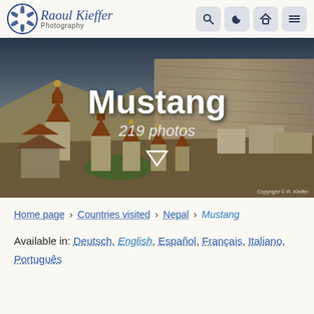Raoul Kieffer Photography — navigation header with search, dark mode, home, and menu icons
[Figure (photo): Aerial photograph of Mustang, Nepal — ancient Buddhist chortens/stupas with orange spires in a dry mountain landscape with dramatic cliffs and village buildings. Text overlay: 'Mustang' and '219 photos'. Copyright © R. Kieffer.]
Home page › Countries visited › Nepal › Mustang
Available in: Deutsch, English, Español, Français, Italiano, Português